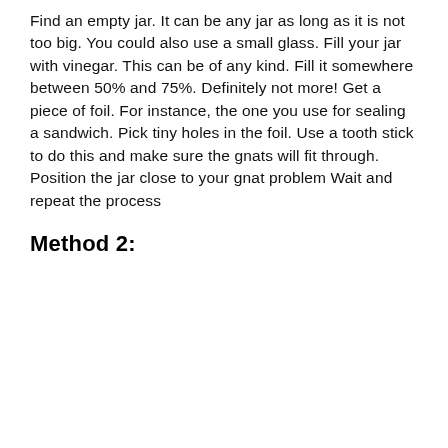Find an empty jar. It can be any jar as long as it is not too big. You could also use a small glass. Fill your jar with vinegar. This can be of any kind. Fill it somewhere between 50% and 75%. Definitely not more! Get a piece of foil. For instance, the one you use for sealing a sandwich. Pick tiny holes in the foil. Use a tooth stick to do this and make sure the gnats will fit through. Position the jar close to your gnat problem Wait and repeat the process
Method 2: